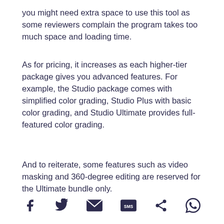you might need extra space to use this tool as some reviewers complain the program takes too much space and loading time.
As for pricing, it increases as each higher-tier package gives you advanced features. For example, the Studio package comes with simplified color grading, Studio Plus with basic color grading, and Studio Ultimate provides full-featured color grading.
And to reiterate, some features such as video masking and 360-degree editing are reserved for the Ultimate bundle only.
[Figure (infographic): Social sharing icons: Facebook, Twitter, Email, SMS, Share, WhatsApp]